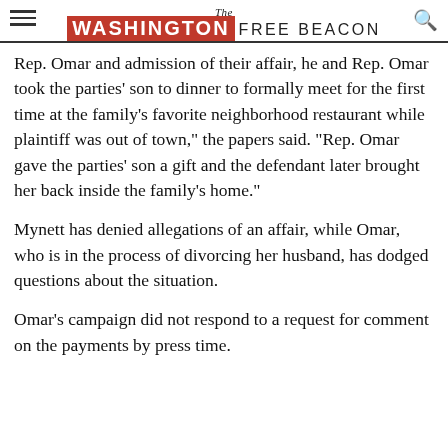The Washington Free Beacon
Rep. Omar and admission of their affair, he and Rep. Omar took the parties' son to dinner to formally meet for the first time at the family's favorite neighborhood restaurant while plaintiff was out of town," the papers said. "Rep. Omar gave the parties' son a gift and the defendant later brought her back inside the family's home."
Mynett has denied allegations of an affair, while Omar, who is in the process of divorcing her husband, has dodged questions about the situation.
Omar's campaign did not respond to a request for comment on the payments by press time.